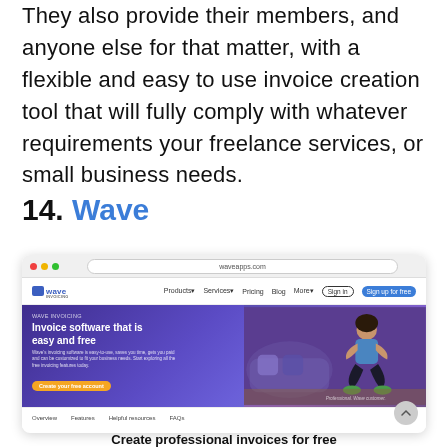They also provide their members, and anyone else for that matter, with a flexible and easy to use invoice creation tool that will fully comply with whatever requirements your freelance services, or small business needs.
14. Wave
[Figure (screenshot): Screenshot of the Wave Invoicing website showing the homepage with navigation bar (Products, Services, Pricing, Blog, More, Sign in, Sign up for free buttons), a hero section with purple/blue gradient background showing 'WAVE INVOICING - Invoice software that is easy and free' headline with descriptive text and 'Create your free account' button, a woman exercising on the right side, and footer navigation with Overview, Features, Helpful resources, FAQs links.]
Create professional invoices for free